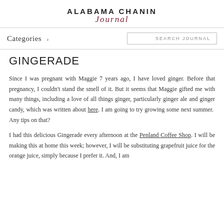ALABAMA CHANIN Journal
Categories >    SEARCH JOURNAL
GINGERADE
Since I was pregnant with Maggie 7 years ago, I have loved ginger. Before that pregnancy, I couldn't stand the smell of it. But it seems that Maggie gifted me with many things, including a love of all things ginger, particularly ginger ale and ginger candy, which was written about here. I am going to try growing some next summer.  Any tips on that?
I had this delicious Gingerade every afternoon at the Penland Coffee Shop. I will be making this at home this week; however, I will be substituting grapefruit juice for the orange juice, simply because I prefer it. And, I am